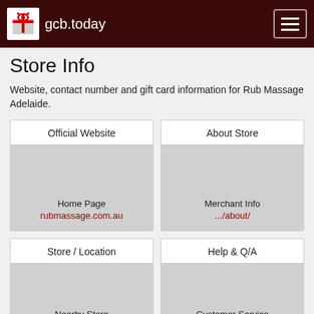gcb.today
Store Info
Website, contact number and gift card information for Rub Massage Adelaide.
[Figure (infographic): Grid card: Official Website - Home Page - rubmassage.com.au]
[Figure (infographic): Grid card: About Store - Merchant Info - .../about/]
[Figure (infographic): Grid card: Store / Location - Nearby Store]
[Figure (infographic): Grid card: Help & Q/A - Customer Service]